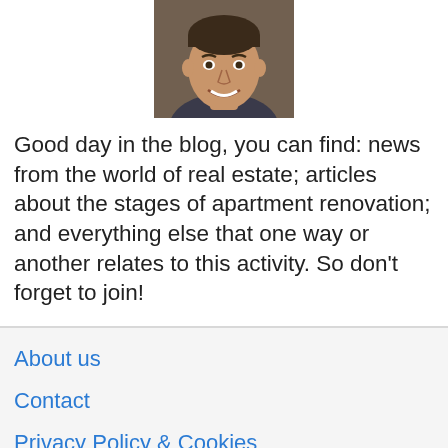[Figure (photo): Headshot photo of a smiling man]
Good day in the blog, you can find: news from the world of real estate; articles about the stages of apartment renovation; and everything else that one way or another relates to this activity. So don't forget to join!
About us
Contact
Privacy Policy & Cookies
ATTENTION TO RIGHT HOLDERS! All materials are posted on the site strictly for informational and educational purposes! If